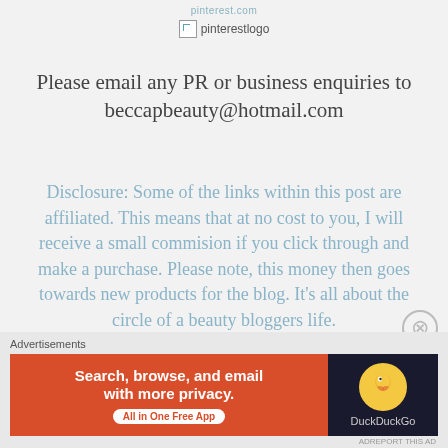pinterest.com
[Figure (logo): Broken image placeholder with text 'pinterestlogo']
Please email any PR or business enquiries to beccapbeauty@hotmail.com
Disclosure: Some of the links within this post are affiliated. This means that at no cost to you, I will receive a small commision if you click through and make a purchase. Please note, this money then goes towards new products for the blog. It's all about the circle of a beauty bloggers life.
[Figure (screenshot): DuckDuckGo advertisement banner: 'Search, browse, and email with more privacy. All in One Free App' with DuckDuckGo logo on dark background. Labeled 'Advertisements'.]
ADREPORT THIS AD